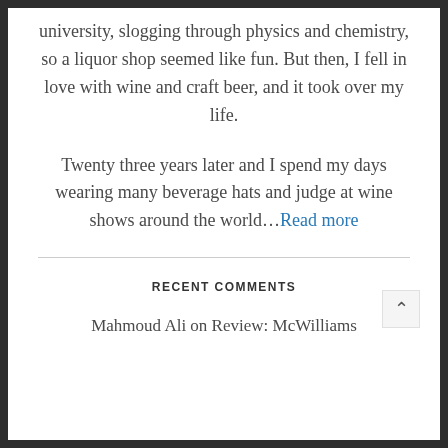university, slogging through physics and chemistry, so a liquor shop seemed like fun. But then, I fell in love with wine and craft beer, and it took over my life.
Twenty three years later and I spend my days wearing many beverage hats and judge at wine shows around the world…Read more
RECENT COMMENTS
Mahmoud Ali on Review: McWilliams